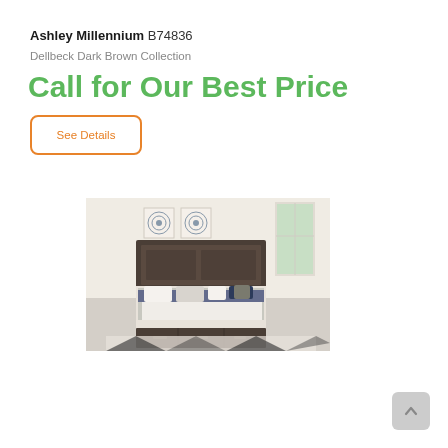Ashley Millennium B74836
Dellbeck Dark Brown Collection
Call for Our Best Price
See Details
[Figure (photo): Dark brown queen/king bedroom bed with padded headboard, decorative pillows, white/grey bedding, storage drawers at foot, on a geometric patterned rug in a light-colored room with wall art above headboard.]